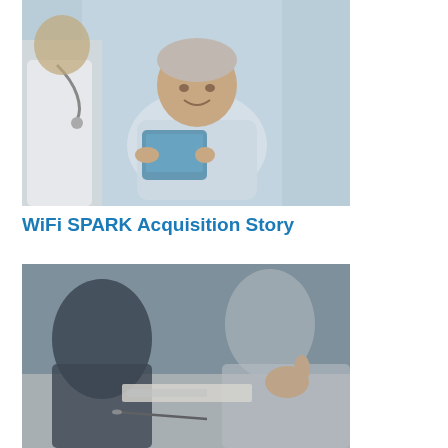[Figure (photo): An elderly Asian male patient sitting in a hospital bed/chair wearing a patient gown, smiling and using a tablet device, with a doctor or nurse partially visible on the left wearing a stethoscope.]
WiFi SPARK Acquisition Story
[Figure (photo): A blurred close-up of two people at a table, one appears to be explaining something with a hand gesture, with papers and a pen visible on the table.]